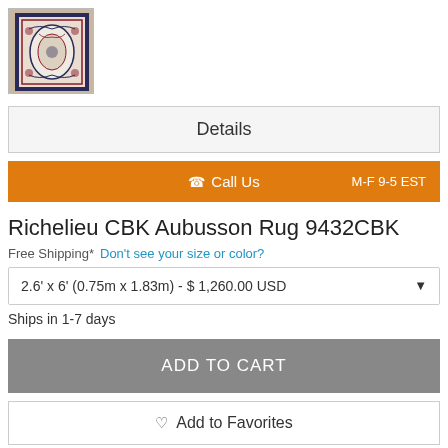[Figure (photo): Thumbnail image of Richelieu CBK Aubusson Rug with ornate floral pattern in dark and light colors]
Details
☎ Call Us   M-F 9-5 EST
Richelieu CBK Aubusson Rug 9432CBK
Free Shipping*  Don't see your size or color?
2.6' x 6' (0.75m x 1.83m) - $ 1,260.00 USD
Ships in 1-7 days
ADD TO CART
♡  Add to Favorites